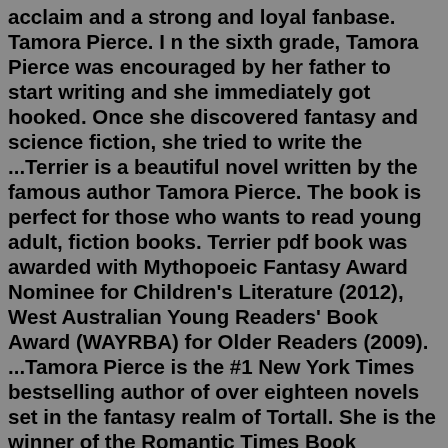acclaim and a strong and loyal fanbase. Tamora Pierce. I n the sixth grade, Tamora Pierce was encouraged by her father to start writing and she immediately got hooked. Once she discovered fantasy and science fiction, she tried to write the ...Terrier is a beautiful novel written by the famous author Tamora Pierce. The book is perfect for those who wants to read young adult, fiction books. Terrier pdf book was awarded with Mythopoeic Fantasy Award Nominee for Children's Literature (2012), West Australian Young Readers' Book Award (WAYRBA) for Older Readers (2009). ...Tamora Pierce is the #1 New York Times bestselling author of over eighteen novels set in the fantasy realm of Tortall. She is the winner of the Romantic Times Book Reviews Career Achievement Award, the Skylark Edward E. Smith Memorial Award for Imaginative Fiction, and the Margaret A. Edwards Award for her 'significant and lasting contribution to young adult literature'.About Tamora Pierce. Hey folks! My name is Tamora Pierce. I prefer Tammy in regular conversation. You might know me